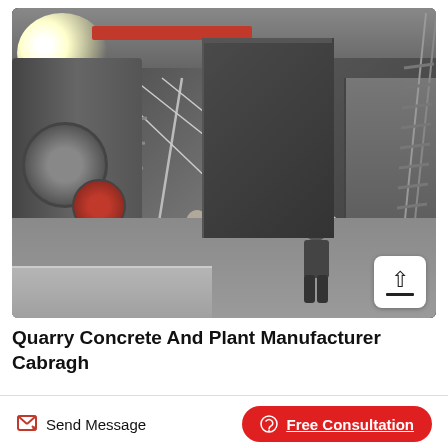[Figure (photo): Industrial warehouse interior showing heavy machinery, metal staircases, platforms, and workers climbing stairs. A large cylindrical machine is visible on the left, red overhead beam at top, bright light source top-left. An upload icon button is visible in bottom-right corner of the photo.]
Quarry Concrete And Plant Manufacturer Cabragh
Send Message
Free Consultation